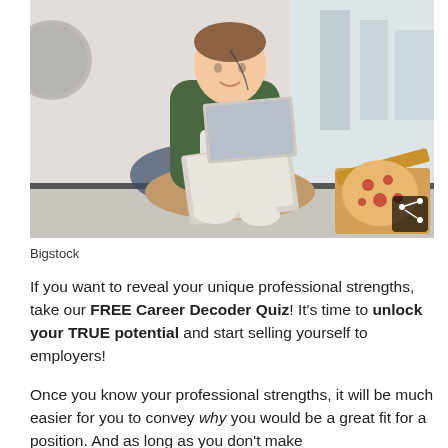[Figure (photo): Young man sitting cross-legged on a window ledge, wearing a green shirt and khaki pants, working on a laptop. An open pizza box sits beside him. Brick wall and city view in background.]
Bigstock
If you want to reveal your unique professional strengths, take our FREE Career Decoder Quiz! It's time to unlock your TRUE potential and start selling yourself to employers!
Once you know your professional strengths, it will be much easier for you to convey why you would be a great fit for a position. And as long as you don't make the common mistakes, you'll be unstoppable.